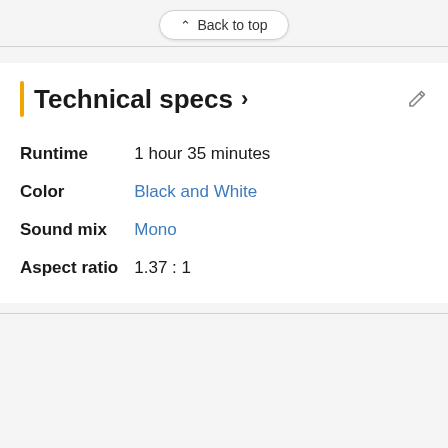Back to top
Technical specs >
| Runtime | 1 hour 35 minutes |
| Color | Black and White |
| Sound mix | Mono |
| Aspect ratio | 1.37 : 1 |